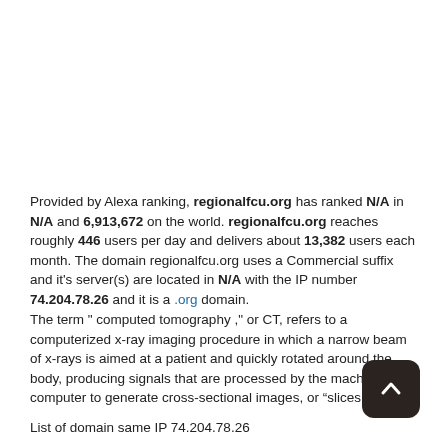Provided by Alexa ranking, regionalfcu.org has ranked N/A in N/A and 6,913,672 on the world. regionalfcu.org reaches roughly 446 users per day and delivers about 13,382 users each month. The domain regionalfcu.org uses a Commercial suffix and it's server(s) are located in N/A with the IP number 74.204.78.26 and it is a .org domain.
The term " computed tomography ," or CT, refers to a computerized x-ray imaging procedure in which a narrow beam of x-rays is aimed at a patient and quickly rotated around the body, producing signals that are processed by the machine's computer to generate cross-sectional images, or “slices.”
List of domain same IP 74.204.78.26